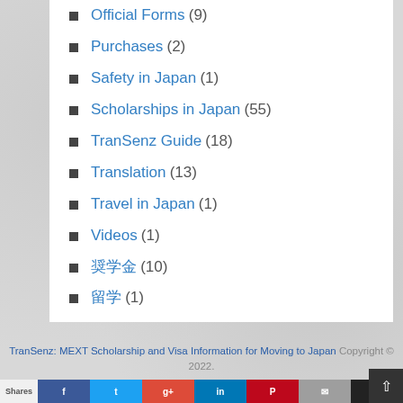Official Forms (9)
Purchases (2)
Safety in Japan (1)
Scholarships in Japan (55)
TranSenz Guide (18)
Translation (13)
Travel in Japan (1)
Videos (1)
奨学金 (10)
留学 (1)
TranSenz: MEXT Scholarship and Visa Information for Moving to Japan Copyright © 2022.